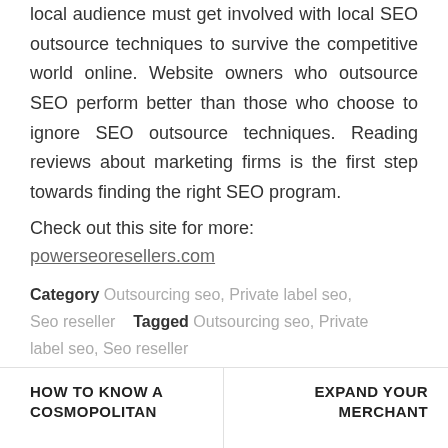local audience must get involved with local SEO outsource techniques to survive the competitive world online. Website owners who outsource SEO perform better than those who choose to ignore SEO outsource techniques. Reading reviews about marketing firms is the first step towards finding the right SEO program.
Check out this site for more: powerseoresellers.com
Category Outsourcing seo, Private label seo, Seo reseller   Tagged Outsourcing seo, Private label seo, Seo reseller
HOW TO KNOW A COSMOPOLITAN
EXPAND YOUR MERCHANT